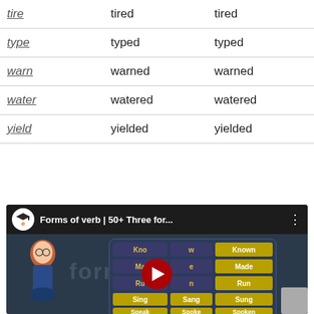| Base | Past Simple | Past Participle |
| --- | --- | --- |
| tire | tired | tired |
| type | typed | typed |
| warn | warned | warned |
| water | watered | watered |
| yield | yielded | yielded |
[Figure (screenshot): YouTube video thumbnail titled 'Forms of verb | 50+ Three for...' showing a cartoon teacher character and a verb conjugation grid with a play button overlay.]